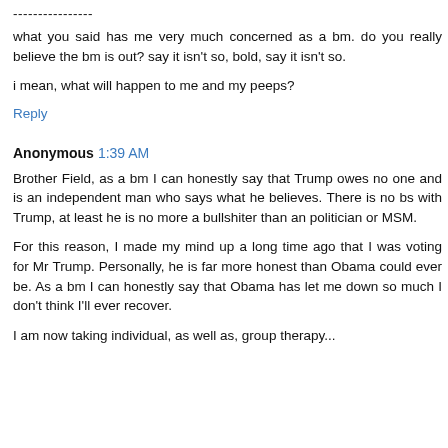----------------
what you said has me very much concerned as a bm. do you really believe the bm is out? say it isn't so, bold, say it isn't so.
i mean, what will happen to me and my peeps?
Reply
Anonymous 1:39 AM
Brother Field, as a bm I can honestly say that Trump owes no one and is an independent man who says what he believes. There is no bs with Trump, at least he is no more a bullshiter than an politician or MSM.
For this reason, I made my mind up a long time ago that I was voting for Mr Trump. Personally, he is far more honest than Obama could ever be. As a bm I can honestly say that Obama has let me down so much I don't think I'll ever recover.
I am now taking individual, as well as, group therapy...